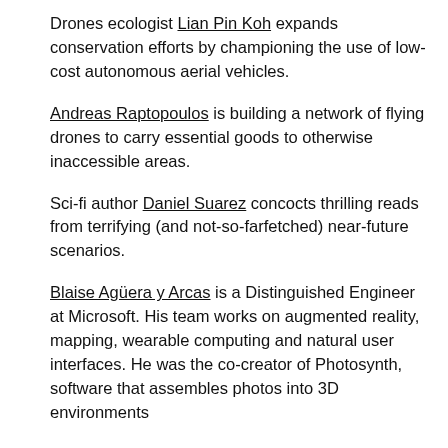Drones ecologist Lian Pin Koh expands conservation efforts by championing the use of low-cost autonomous aerial vehicles.
Andreas Raptopoulos is building a network of flying drones to carry essential goods to otherwise inaccessible areas.
Sci-fi author Daniel Suarez concocts thrilling reads from terrifying (and not-so-farfetched) near-future scenarios.
Blaise Agüera y Arcas is a Distinguished Engineer at Microsoft. His team works on augmented reality, mapping, wearable computing and natural user interfaces. He was the co-creator of Photosynth, software that assembles photos into 3D environments